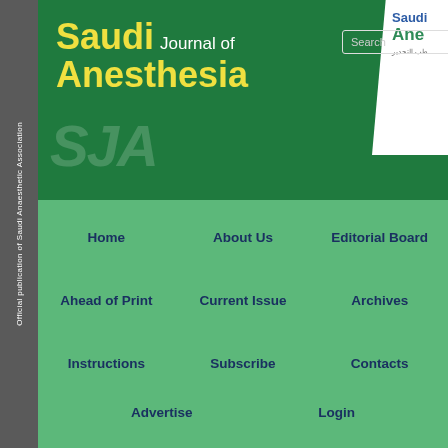Official publication of Saudi Anaesthetic Association
Saudi Journal of Anesthesia
[Figure (screenshot): Saudi Journal of Anesthesia website header with navigation menu including Home, About Us, Editorial Board, Ahead of Print, Current Issue, Archives, Instructions, Subscribe, Contacts, Advertise, Login links on a green background]
Users Online: 660
Search
Similar in PUBMED